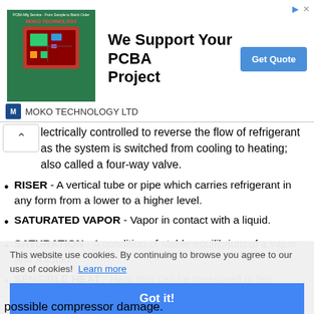[Figure (screenshot): Advertisement banner for MOKO TECHNOLOGY LTD showing a PCB board image and 'We Support Your PCBA Project' headline with a 'Get Quote' button, and a small logo bar below.]
lectrically controlled to reverse the flow of refrigerant as the system is switched from cooling to heating; also called a four-way valve.
RISER - A vertical tube or pipe which carries refrigerant in any form from a lower to a higher level.
SATURATED VAPOR - Vapor in contact with a liquid.
SATURATION - A condition of stable equilibrium of a vapor and a liquid.
SENSIBLE HEAT - Heat that can be measured or felt. Sensible heat always causes a temperature rise.
SIGHT GLASS - A glass installed in the liquid line permitting visual inspection of the liquid refrigerant for
This website use cookies. By continuing to browse you agree to our use of cookies! Learn more
Got it!
possible compressor damage.